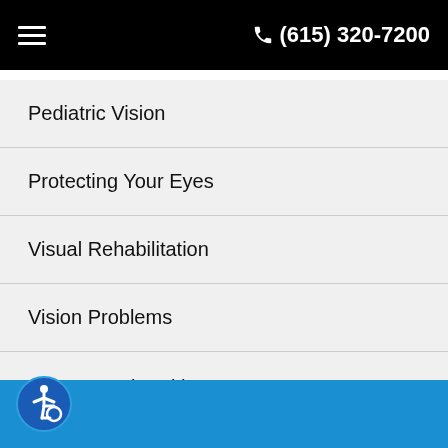(615) 320-7200
Pediatric Vision
Protecting Your Eyes
Visual Rehabilitation
Vision Problems
We Can Help With
Newsletters
[Figure (logo): Accessibility icon (wheelchair symbol) in a blue circle]